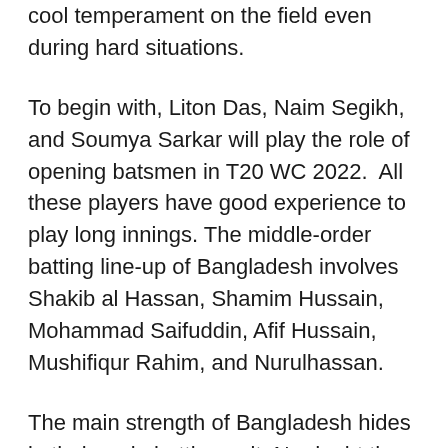cool temperament on the field even during hard situations.
To begin with, Liton Das, Naim Segikh, and Soumya Sarkar will play the role of opening batsmen in T20 WC 2022.  All these players have good experience to play long innings. The middle-order batting line-up of Bangladesh involves Shakib al Hassan, Shamim Hussain, Mohammad Saifuddin, Afif Hussain, Mushifiqur Rahim, and Nurulhassan.
The main strength of Bangladesh hides in their main batting unit. No doubt they have some best batting figures in their squad whereas Liton Das, Shakib-ul-Hasan, and Mahmudullah are top-notch all-rounders in this team.